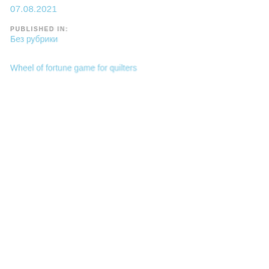07.08.2021
PUBLISHED IN:
Без рубрики
Wheel of fortune game for quilters